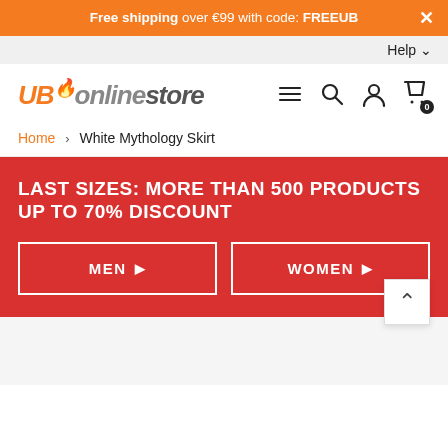Free shipping over €99 with code: FREEUB
Help
[Figure (logo): UBonlinestore logo in orange and grey italic bold text]
Home > White Mythology Skirt
LAST SIZES: MORE THAN 500 PRODUCTS UP TO 70% DISCOUNT
MEN
WOMEN